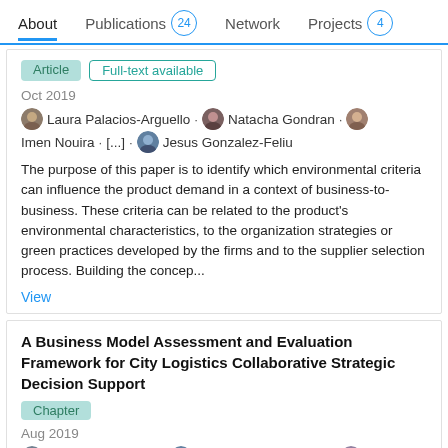About  Publications 24  Network  Projects 4
Article  Full-text available
Oct 2019
Laura Palacios-Arguello · Natacha Gondran · Imen Nouira · [...] · Jesus Gonzalez-Feliu
The purpose of this paper is to identify which environmental criteria can influence the product demand in a context of business-to-business. These criteria can be related to the product's environmental characteristics, to the organization strategies or green practices developed by the firms and to the supplier selection process. Building the concep...
View
A Business Model Assessment and Evaluation Framework for City Logistics Collaborative Strategic Decision Support
Chapter
Aug 2019
Giovanni Zenasini · Jesus Gonzalez-Feliu · Giulia